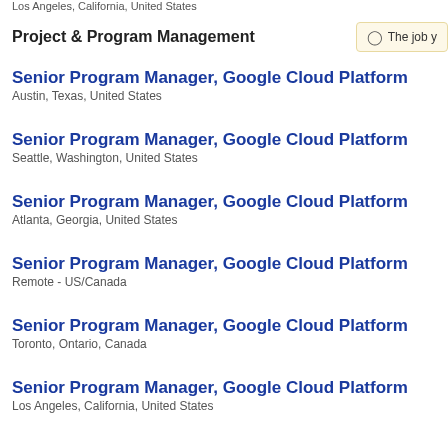Los Angeles, California, United States
Project & Program Management
Senior Program Manager, Google Cloud Platform
Austin, Texas, United States
Senior Program Manager, Google Cloud Platform
Seattle, Washington, United States
Senior Program Manager, Google Cloud Platform
Atlanta, Georgia, United States
Senior Program Manager, Google Cloud Platform
Remote - US/Canada
Senior Program Manager, Google Cloud Platform
Toronto, Ontario, Canada
Senior Program Manager, Google Cloud Platform
Los Angeles, California, United States